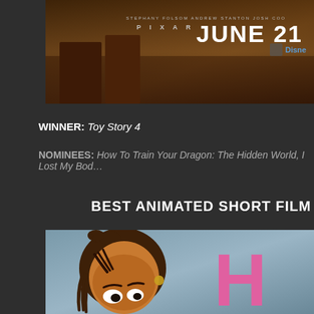[Figure (photo): Top portion of a Toy Story 4 movie poster showing PIXAR branding and JUNE 21 release date text on a dark brown/wood-toned background]
WINNER: Toy Story 4
NOMINEES: How To Train Your Dragon: The Hidden World, I Lost My Bod…
BEST ANIMATED SHORT FILM
[Figure (photo): Partial movie image showing an animated cartoon character with dark curly hair and brown skin on a blue-grey background, with large pink letter H visible on the right side]